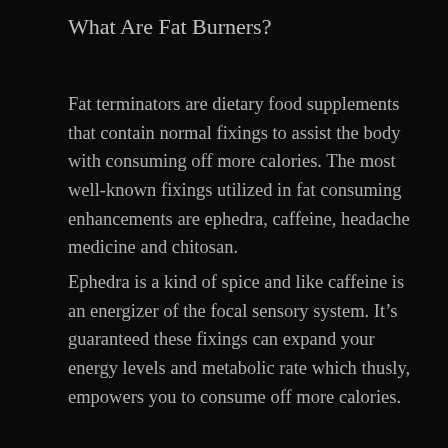What Are Fat Burners?
Fat terminators are dietary food supplements that contain normal fixings to assist the body with consuming off more calories. The most well-known fixings utilized in fat consuming enhancements are ephedra, caffeine, headache medicine and chitosan.
Ephedra is a kind of spice and like caffeine is an energizer of the focal sensory system. It’s guaranteed these fixings can expand your energy levels and metabolic rate which thusly, empowers you to consume off more calories.